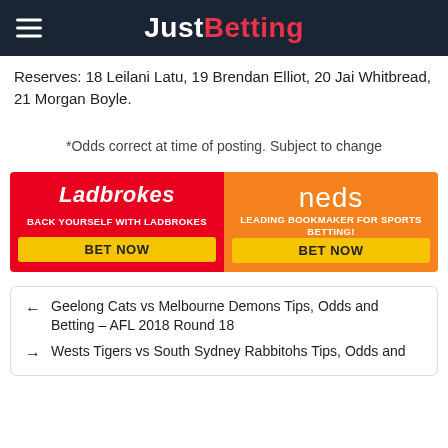JustBetting
Reserves: 18 Leilani Latu, 19 Brendan Elliot, 20 Jai Whitbread, 21 Morgan Boyle.
*Odds correct at time of posting. Subject to change
[Figure (infographic): Two betting advertisement banners side by side. Left: Ladbrokes (red background) with logo, tagline 'BACK YOURSELF WITH LADBROKES', and yellow 'BET NOW' button. Right: Neds (orange background) with logo, tagline 'LEADING BOOKMAKER FOR SPORTS BETTING!', and yellow 'BET NOW' button.]
← Geelong Cats vs Melbourne Demons Tips, Odds and Betting – AFL 2018 Round 18
→ Wests Tigers vs South Sydney Rabbitohs Tips, Odds and